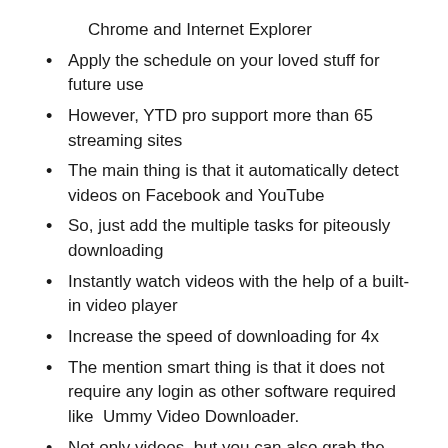Chrome and Internet Explorer
Apply the schedule on your loved stuff for future use
However, YTD pro support more than 65 streaming sites
The main thing is that it automatically detect videos on Facebook and YouTube
So, just add the multiple tasks for piteously downloading
Instantly watch videos with the help of a built-in video player
Increase the speed of downloading for 4x
The mention smart thing is that it does not require any login as other software required like Ummy Video Downloader.
Not only videos, but you can also grab the various